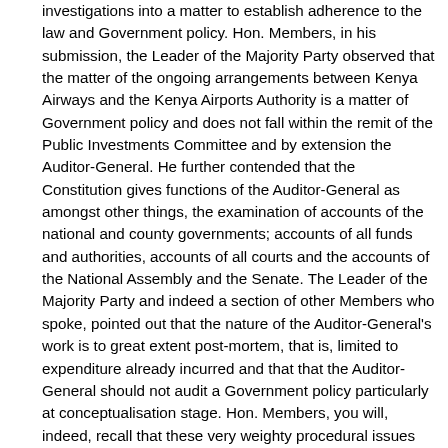investigations into a matter to establish adherence to the law and Government policy. Hon. Members, in his submission, the Leader of the Majority Party observed that the matter of the ongoing arrangements between Kenya Airways and the Kenya Airports Authority is a matter of Government policy and does not fall within the remit of the Public Investments Committee and by extension the Auditor-General. He further contended that the Constitution gives functions of the Auditor-General as amongst other things, the examination of accounts of the national and county governments; accounts of all funds and authorities, accounts of all courts and the accounts of the National Assembly and the Senate. The Leader of the Majority Party and indeed a section of other Members who spoke, pointed out that the nature of the Auditor-General's work is to great extent post-mortem, that is, limited to expenditure already incurred and that that the Auditor-General should not audit a Government policy particularly at conceptualisation stage. Hon. Members, you will, indeed, recall that these very weighty procedural issues raised by the Leader of the Majority Party elicited reactions from the Floor, with very valuable input from the Chairperson of Public Investments Committee, the Hon. Abdullswamad Sherriff Nassir; the Chairperson of the Departmental Committee on Transport, Public Works and Housing, the Hon. David Pkosing; the Majority